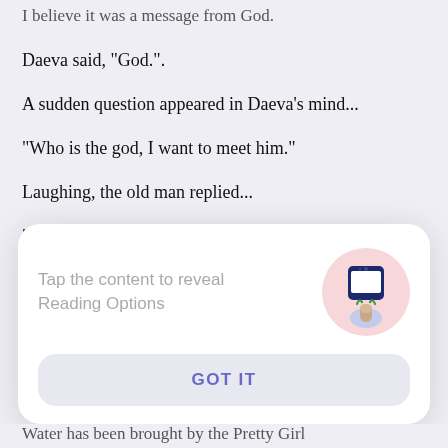I believe it was a message from God.
Daeva said, "God.".
A sudden question appeared in Daeva's mind...
"Who is the god, I want to meet him."
Laughing, the old man replied...
"No eyes have seen God, no ears have heard God."
"It is impossible to imagine God. no words could
[Figure (screenshot): A modal dialog overlay with text 'Tap the content to reveal Reading Options' and a GOT IT button, with a phone/tap icon illustration in pink circle.]
Water has been brought by the Pretty Girl